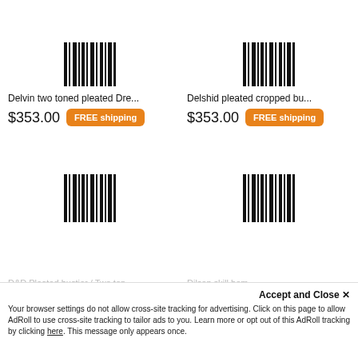[Figure (other): Product image placeholder with barcode icon for Delvin two toned pleated Dre...]
Delvin two toned pleated Dre...
$353.00  FREE shipping
[Figure (other): Product image placeholder with barcode icon for Delshid pleated cropped bu...]
Delshid pleated cropped bu...
$353.00  FREE shipping
[Figure (other): Product image placeholder with barcode icon - D&D Pleated bustier / Two ton...]
[Figure (other): Product image placeholder with barcode icon - Dilson skill home...]
D&D Pleated bustier / Two ton...
Dilson skill hom...
Accept and Close ✕
Your browser settings do not allow cross-site tracking for advertising. Click on this page to allow AdRoll to use cross-site tracking to tailor ads to you. Learn more or opt out of this AdRoll tracking by clicking here. This message only appears once.